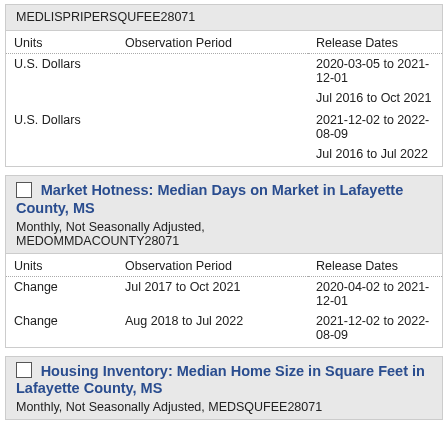MEDLISPRIPERSQUFEE28071
| Units | Observation Period | Release Dates |
| --- | --- | --- |
| U.S. Dollars |  | 2020-03-05 to 2021-12-01 |
|  |  | Jul 2016 to Oct 2021 |
| U.S. Dollars |  | 2021-12-02 to 2022-08-09 |
|  |  | Jul 2016 to Jul 2022 |
Market Hotness: Median Days on Market in Lafayette County, MS
Monthly, Not Seasonally Adjusted, MEDOMMDACOUNTY28071
| Units | Observation Period | Release Dates |
| --- | --- | --- |
| Change | Jul 2017 to Oct 2021 | 2020-04-02 to 2021-12-01 |
| Change | Aug 2018 to Jul 2022 | 2021-12-02 to 2022-08-09 |
Housing Inventory: Median Home Size in Square Feet in Lafayette County, MS
Monthly, Not Seasonally Adjusted, MEDSQUFEE28071